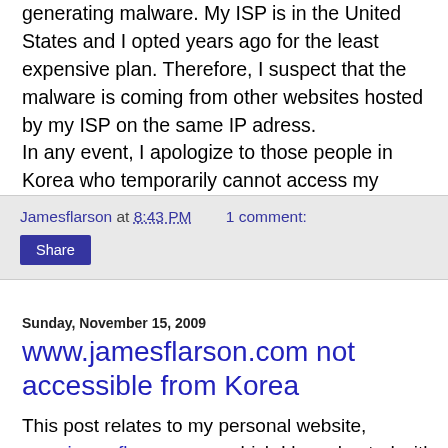generating malware. My ISP is in the United States and I opted years ago for the least expensive plan. Therefore, I suspect that the malware is coming from other websites hosted by my ISP on the same IP adress.
In any event, I apologize to those people in Korea who temporarily cannot access my personal website. I'll work this out and get it back up and running.
Jamesflarson at 8:43 PM    1 comment:
Share
Sunday, November 15, 2009
www.jamesflarson.com not accessible from Korea
This post relates to my personal website, www.jamesflarson.com, which I have hosted with an ISP in the United States for nearly a decade now.  About three or four days ago, I suddenly noticed that I could not access my own site from my office here in Seoul. This is the first time...